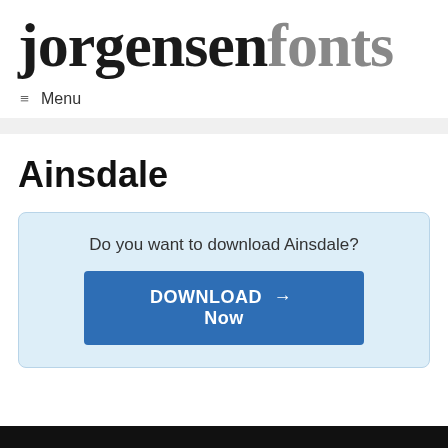jorgensenfonts
≡  Menu
Ainsdale
Do you want to download Ainsdale?
DOWNLOAD → Now